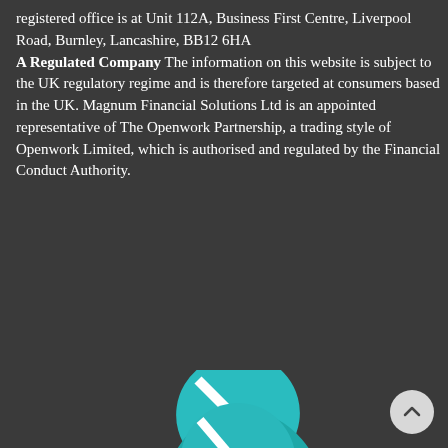registered office is at Unit 112A, Business First Centre, Liverpool Road, Burnley, Lancashire, BB12 6HA
A Regulated Company The information on this website is subject to the UK regulatory regime and is therefore targeted at consumers based in the UK. Magnum Financial Solutions Ltd is an appointed representative of The Openwork Partnership, a trading style of Openwork Limited, which is authorised and regulated by the Financial Conduct Authority.
[Figure (logo): Three teardrop/pebble-shaped icons in teal and dark blue arranged diagonally, forming a brand logo for Magnum Financial Solutions / Openwork. Four pebble shapes visible: top-left small teal circle, middle-left medium teal pebble, center-right dark blue pebble, bottom-left large teal pebble. Each has a white diagonal stripe across it.]